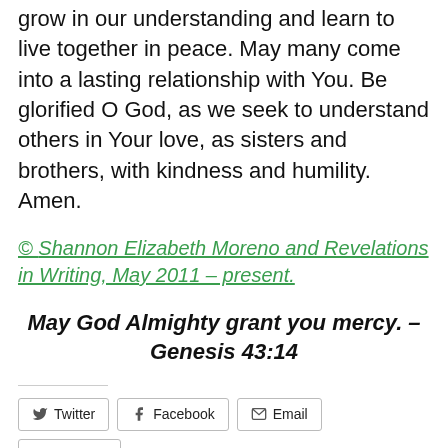grow in our understanding and learn to live together in peace. May many come into a lasting relationship with You. Be glorified O God, as we seek to understand others in Your love, as sisters and brothers, with kindness and humility. Amen.
© Shannon Elizabeth Moreno and Revelations in Writing, May 2011 – present.
May God Almighty grant you mercy. – Genesis 43:14
[Figure (other): Social sharing buttons: Twitter, Facebook, Email, LinkedIn, Pinterest, More]